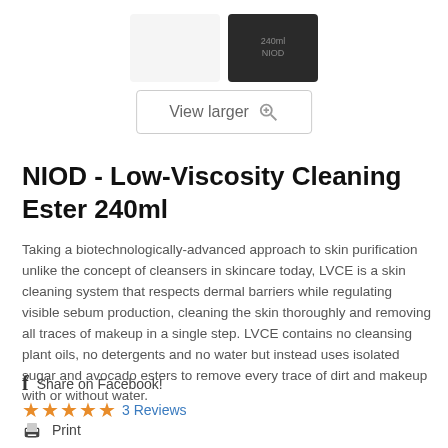[Figure (photo): Two product images: a white container and a dark/black package labeled 240ml]
View larger
NIOD - Low-Viscosity Cleaning Ester 240ml
Taking a biotechnologically-advanced approach to skin purification unlike the concept of cleansers in skincare today, LVCE is a skin cleaning system that respects dermal barriers while regulating visible sebum production, cleaning the skin thoroughly and removing all traces of makeup in a single step. LVCE contains no cleansing plant oils, no detergents and no water but instead uses isolated sugar and avocado esters to remove every trace of dirt and makeup with or without water.
Share on Facebook!
3 Reviews
Print
38,00 €    tax incl.